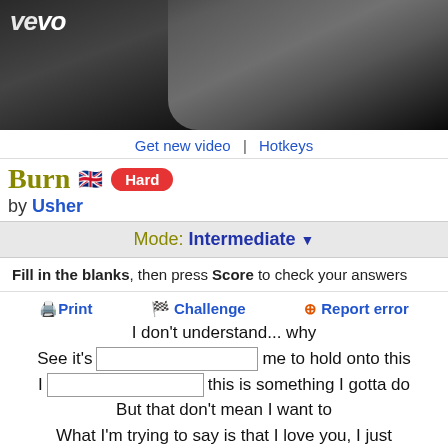[Figure (screenshot): Vevo music video thumbnail – dark background with partial figure visible]
Get new video | Hotkeys
Burn 🇬🇧 Hard
by Usher
Mode: Intermediate
Fill in the blanks, then press Score to check your answers
Print  🏁 Challenge  ⚠ Report error
I don't understand... why
See it's [blank] me to hold onto this
I [blank] this is something I gotta do
But that don't mean I want to
What I'm trying to say is that I love you, I just
I feel like this... is coming to an end
And it's better for me to... let it go now
Than hold on and hurt you
I gotta let it burn
It's gonna burn for me to say this
But it's coming from my heart